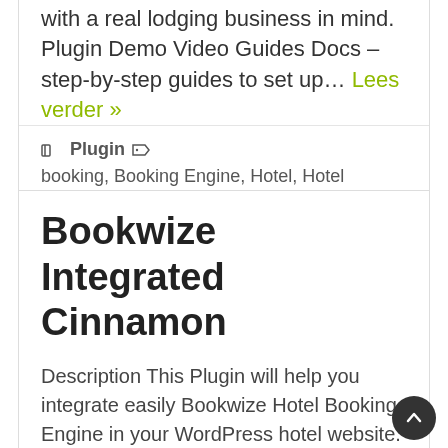with a real lodging business in mind. Plugin Demo Video Guides Docs – step-by-step guides to set up... Lees verder »
Plugin  booking, Booking Engine, Hotel, Hotel Booking, reservation
Bookwize Integrated Cinnamon
Description This Plugin will help you integrate easily Bookwize Hotel Booking Engine in your WordPress hotel website. Bookwize Integrated Cinnamon displays a form for users to choose their travel preferences... Lees verder »
Plugin  booking, Hotel, Hotel Booking, hotel